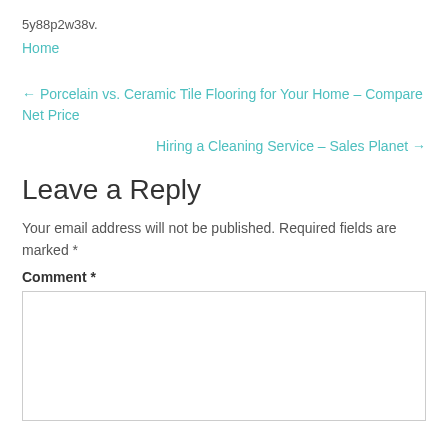5y88p2w38v.
Home
← Porcelain vs. Ceramic Tile Flooring for Your Home – Compare Net Price
Hiring a Cleaning Service – Sales Planet →
Leave a Reply
Your email address will not be published. Required fields are marked *
Comment *